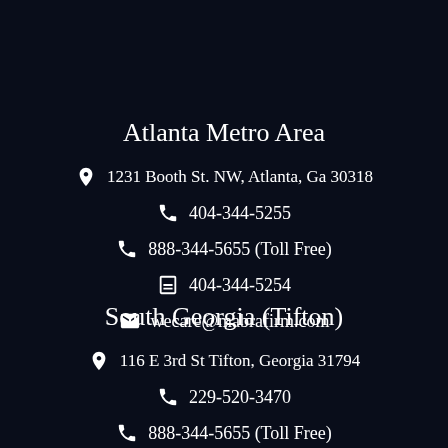Atlanta Metro Area
📍 1231 Booth St. NW, Atlanta, Ga 30318
📞 404-344-5255
📞 888-344-5655 (Toll Free)
🖨 404-344-5254
✉ wecare@mabrafirm.com
South Georgia (Tifton)
📍 116 E 3rd St Tifton, Georgia 31794
📞 229-520-3470
📞 888-344-5655 (Toll Free)